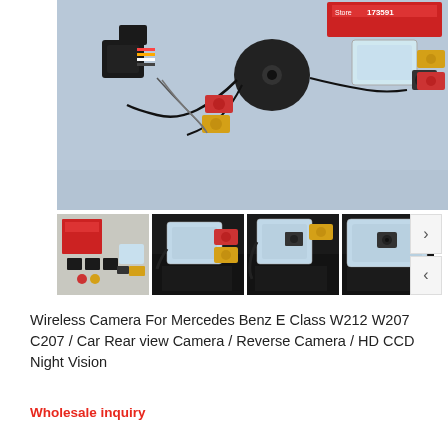[Figure (photo): Main product photo showing wireless rear view camera kit components including camera module, RCA connectors, wiring harness, transparent mounting bracket, and product box on a gray background]
[Figure (photo): Thumbnail 1: Full kit contents laid out showing box and all components]
[Figure (photo): Thumbnail 2: Close-up of camera module with RCA connectors on reflective black surface]
[Figure (photo): Thumbnail 3: Transparent mounting bracket with camera and RCA cable on reflective black surface]
[Figure (photo): Thumbnail 4: Transparent mounting bracket with camera on reflective black surface]
Wireless Camera For Mercedes Benz E Class W212 W207 C207 / Car Rear view Camera / Reverse Camera / HD CCD Night Vision
Wholesale inquiry